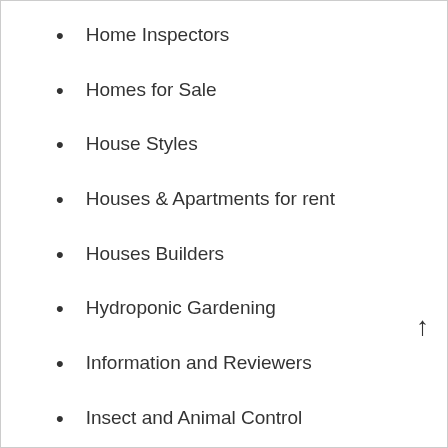Home Inspectors
Homes for Sale
House Styles
Houses & Apartments for rent
Houses Builders
Hydroponic Gardening
Information and Reviewers
Insect and Animal Control
Insulation